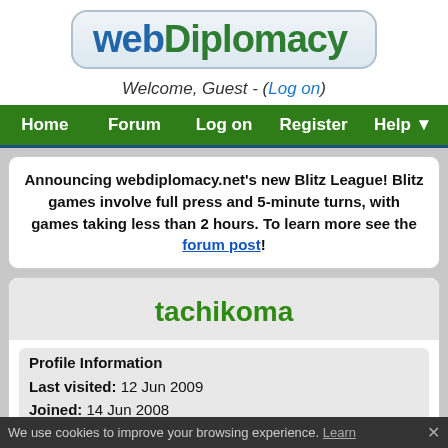[Figure (logo): webDiplomacy logo in a rounded rectangle box, with 'web' in blue and 'Diplomacy' in green]
Welcome, Guest - (Log on)
Home | Forum | Log on | Register | Help ▼
Announcing webdiplomacy.net's new Blitz League! Blitz games involve full press and 5-minute turns, with games taking less than 2 hours. To learn more see the forum post!
tachikoma
Profile Information
Last visited: 12 Jun 2009
Joined: 14 Jun 2008
We use cookies to improve your browsing experience. Learn ✕